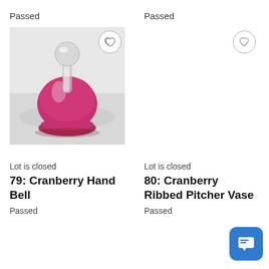Passed
Passed
[Figure (photo): Photo of a cranberry glass hand bell with a clear glass spherical stopper/handle and bulbous pink-red body on a flared base, placed on a white surface.]
[Figure (other): Heart/favorite button icon (no photo shown for right column item)]
Lot is closed
Lot is closed
79: Cranberry Hand Bell
80: Cranberry Ribbed Pitcher Vase
Passed
Passed